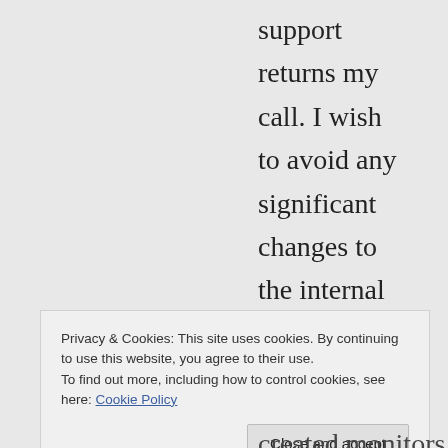support returns my call. I wish to avoid any significant changes to the internal workings of the cluster since I do not know the how they go about replicating configuration information between the nodes and a code upgrade could remove all my customization so mounting OID strings to the various sub-agents isn't a practical solution at this time.
Privacy & Cookies: This site uses cookies. By continuing to use this website, you agree to their use.
To find out more, including how to control cookies, see here: Cookie Policy
Close and accept
created monitors for each node, etc